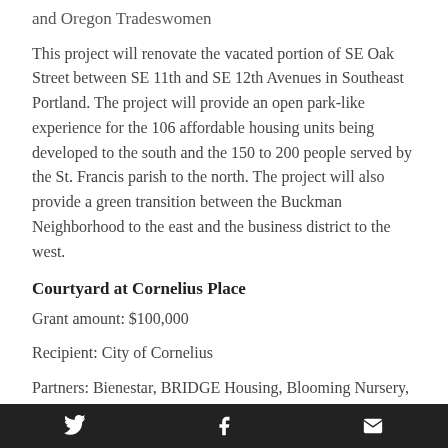and Oregon Tradeswomen
This project will renovate the vacated portion of SE Oak Street between SE 11th and SE 12th Avenues in Southeast Portland. The project will provide an open park-like experience for the 106 affordable housing units being developed to the south and the 150 to 200 people served by the St. Francis parish to the north. The project will also provide a green transition between the Buckman Neighborhood to the east and the business district to the west.
Courtyard at Cornelius Place
Grant amount: $100,000
Recipient: City of Cornelius
Partners: Bienestar, BRIDGE Housing, Blooming Nursery, BRIDGE Housing, Nielson Group and Scott
Twitter | Facebook | Email